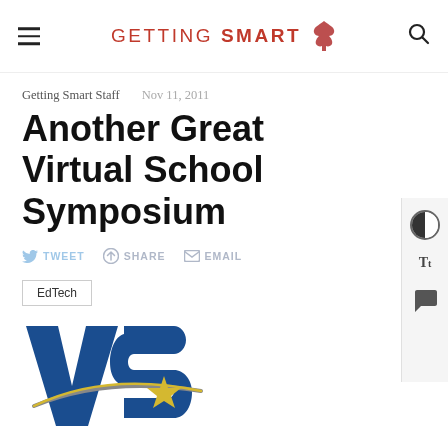GETTING SMART
Getting Smart Staff   Nov 11, 2011
Another Great Virtual School Symposium
TWEET   SHARE   EMAIL
EdTech
[Figure (logo): VSS Virtual School Symposium logo — large blue letters V, S, S with gold star burst and swoosh arc]